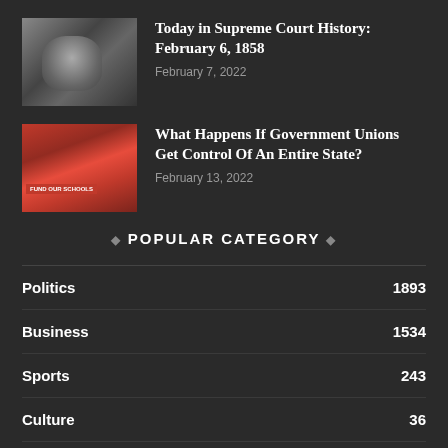[Figure (photo): Black and white portrait photo of a man]
Today in Supreme Court History: February 6, 1858
February 7, 2022
[Figure (photo): Rally photo with red banners reading FUND OUR SCHOOLS]
What Happens If Government Unions Get Control Of An Entire State?
February 13, 2022
◆ POPULAR CATEGORY ◆
Politics  1893
Business  1534
Sports  243
Culture  36